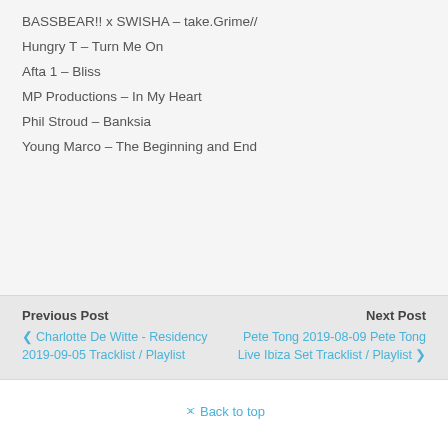BASSBEAR!! x SWISHA – take.Grime//
Hungry T – Turn Me On
Afta 1 – Bliss
MP Productions – In My Heart
Phil Stroud – Banksia
Young Marco – The Beginning and End
Previous Post | Charlotte De Witte - Residency 2019-09-05 Tracklist / Playlist | Next Post | Pete Tong 2019-08-09 Pete Tong Live Ibiza Set Tracklist / Playlist
Back to top